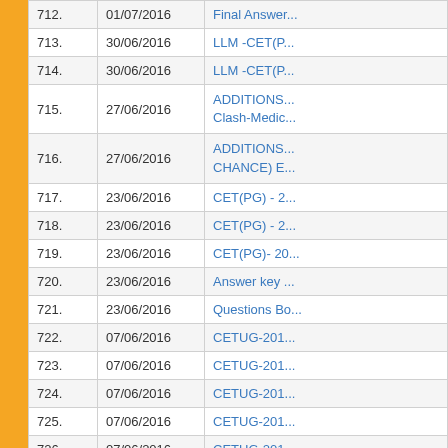| No. | Date | Title |
| --- | --- | --- |
| 712. | 01/07/2016 | Final Answer... |
| 713. | 30/06/2016 | LLM -CET(P... |
| 714. | 30/06/2016 | LLM -CET(P... |
| 715. | 27/06/2016 | ADDITIONS...
Clash-Medic... |
| 716. | 27/06/2016 | ADDITIONS...
CHANCE) E... |
| 717. | 23/06/2016 | CET(PG) - 2... |
| 718. | 23/06/2016 | CET(PG) - 2... |
| 719. | 23/06/2016 | CET(PG)- 20... |
| 720. | 23/06/2016 | Answer key ... |
| 721. | 23/06/2016 | Questions Bo... |
| 722. | 07/06/2016 | CETUG-201... |
| 723. | 07/06/2016 | CETUG-201... |
| 724. | 07/06/2016 | CETUG-201... |
| 725. | 07/06/2016 | CETUG-201... |
| 726. | 07/06/2016 | CETUG-201... |
| 727. | 07/06/2016 | CETUG-201... |